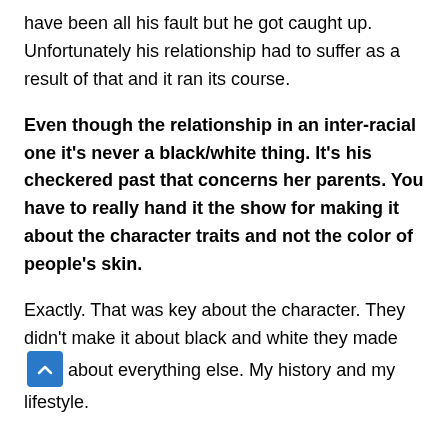have been all his fault but he got caught up. Unfortunately his relationship had to suffer as a result of that and it ran its course.
Even though the relationship in an inter-racial one it's never a black/white thing. It's his checkered past that concerns her parents. You have to really hand it the show for making it about the character traits and not the color of people's skin.
Exactly. That was key about the character. They didn't make it about black and white they made about everything else. My history and my lifestyle.